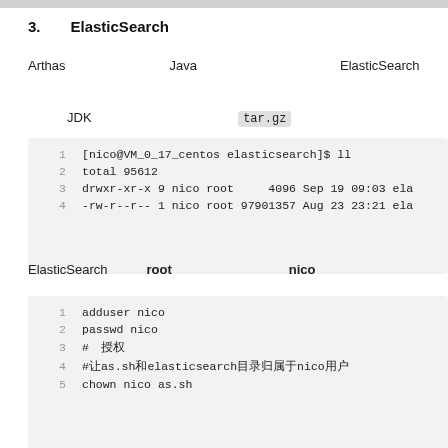3.　ElasticSearch
Arthas是一款针对Java应用的诊断工具，并不能用来诊断ElasticSearch。
所以JDK需要单独安装，安装的是 tar.gz 格式的压缩包
[Figure (screenshot): Code block showing terminal listing: [nico@VM_0_17_centos elasticsearch]$ ll, total 95612, drwxr-xr-x 9 nico root 4096 Sep 19 09:03 ela, -rw-r--r-- 1 nico root 97901357 Aug 23 23:21 ela]
ElasticSearch不能用root用户启动，所以要用nico用户来进行操作
[Figure (screenshot): Code block showing: adduser nico, passwd nico, #授权, #让as.sh和elasticsearch目录归属于nico用户, chown nico as.sh]